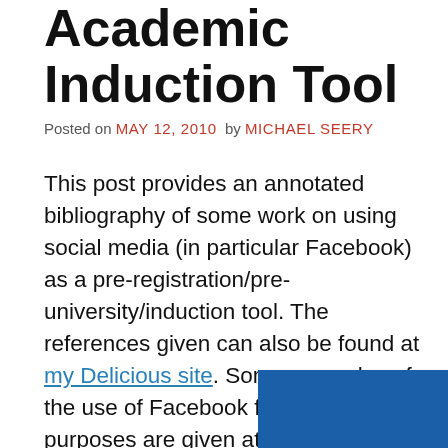Academic Induction Tool
Posted on MAY 12, 2010  by  MICHAEL SEERY
This post provides an annotated bibliography of some work on using social media (in particular Facebook) as a pre-registration/pre-university/induction tool. The references given can also be found at my Delicious site. Some examples of the use of Facebook for induction purposes are given at the end.
[Figure (photo): Blue rectangle image partially visible at the bottom of the page]